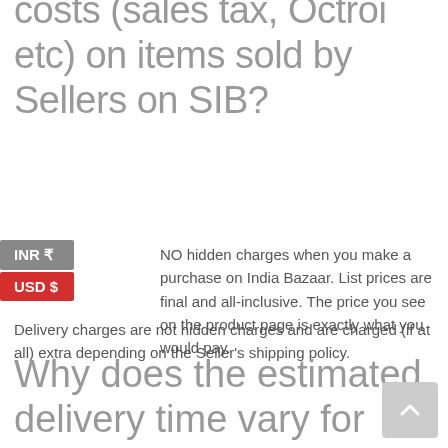costs (sales tax, Octroi etc) on items sold by Sellers on SIB?
There are NO hidden charges when you make a purchase on India Bazaar. List prices are final and all-inclusive. The price you see on the product page is exactly what you would pay.
Delivery charges are not hidden charges and are charged (if at all) extra depending on the Seller's shipping policy.
Why does the estimated delivery time vary for each seller?